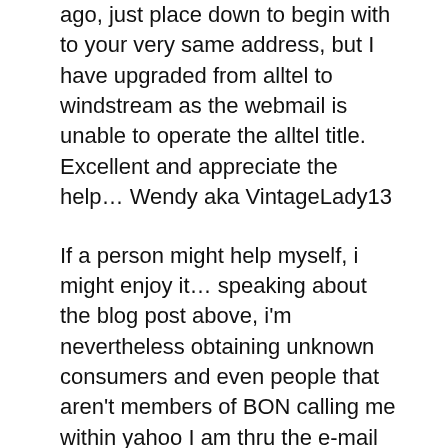ago, just place down to begin with to your very same address, but I have upgraded from alltel to windstream as the webmail is unable to operate the alltel title. Excellent and appreciate the help… Wendy aka VintageLady13
If a person might help myself, i might enjoy it… speaking about the blog post above, i'm nevertheless obtaining unknown consumers and even people that aren't members of BON calling me within yahoo I am thru the e-mail tackle I put for technical support somewhere within the message boards. I wish i really could discover that unique article, thus I understand where you should inform Mr James or tech service to satisfy delete that article. If anyone that says this finds that article using yahoo email address contact info involved, make sure you contact me through messaging by using the link your article. I am tired with they contacting me personally. Cheers a whole lot… 33